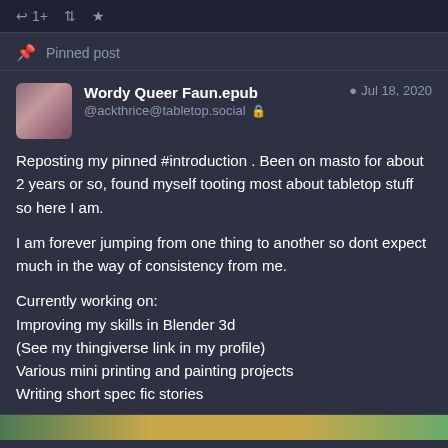[Figure (screenshot): Top bar with social media action icons: reply (1+), retweet, and favorite star]
Pinned post
Wordy Queer Faun.epub
@ackthrice@tabletop.social
Jul 18, 2020
Reposting my pinned #introduction . Been on masto for about 2 years or so, found myself tooting most about tabletop stuff so here I am.

I am forever jumping from one thing to another so dont expect much in the way of consistency from me.

Currently working on:
Improving my skills in Blender 3d
(See my thingiverse link in my profile)
Various mini printing and painting projects
Writing short spec fic stories
[Figure (photo): Bottom preview strip showing partial images]